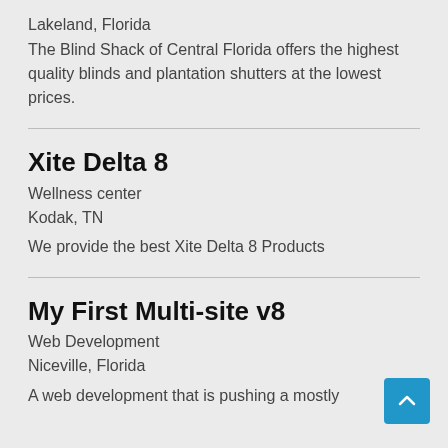Lakeland, Florida
The Blind Shack of Central Florida offers the highest quality blinds and plantation shutters at the lowest prices.
Xite Delta 8
Wellness center
Kodak, TN
We provide the best Xite Delta 8 Products
My First Multi-site v8
Web Development
Niceville, Florida
A web development that is pushing a mostly